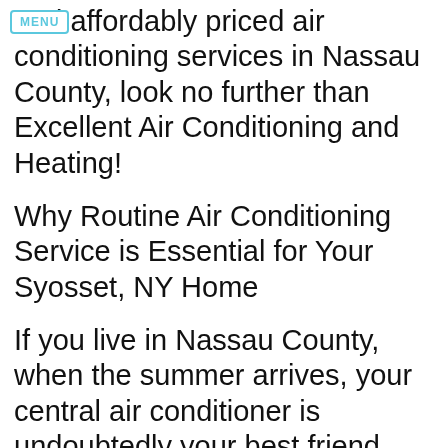and affordably priced air conditioning services in Nassau County, look no further than Excellent Air Conditioning and Heating!
Why Routine Air Conditioning Service is Essential for Your Syosset, NY Home
If you live in Nassau County, when the summer arrives, your central air conditioner is undoubtedly your best friend. When the heat and humidity are off the charts, there's nothing more refreshing than walking into your air-conditioned house after spending time outside. Indeed, you rely on your HVAC system to keep you and your family cool and comfortable during the dog days of